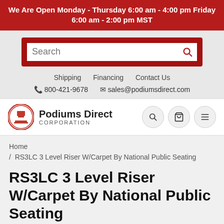We Are Open Monday - Thursday 6:00 am - 4:00 pm Friday 6:00 am - 2:00 pm MST
[Figure (other): Search box with red border and magnifying glass icon]
Shipping   Financing   Contact Us
800-421-9678   sales@podiumsdirect.com
[Figure (logo): Podiums Direct Corporation logo with red podium icon]
Home / RS3LC 3 Level Riser W/Carpet By National Public Seating
RS3LC 3 Level Riser W/Carpet By National Public Seating